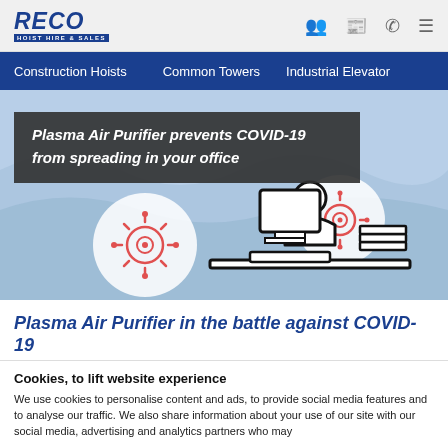RECO HOIST HIRE & SALES
Construction Hoists   Common Towers   Industrial Elevator
[Figure (illustration): Hero banner showing a person at a desk with COVID-19 virus icons, on a light blue wavy background. Dark overlay box with bold italic white text: 'Plasma Air Purifier prevents COVID-19 from spreading in your office']
Plasma Air Purifier in the battle against COVID-19
Cookies, to lift website experience
We use cookies to personalise content and ads, to provide social media features and to analyse our traffic. We also share information about your use of our site with our social media, advertising and analytics partners who may